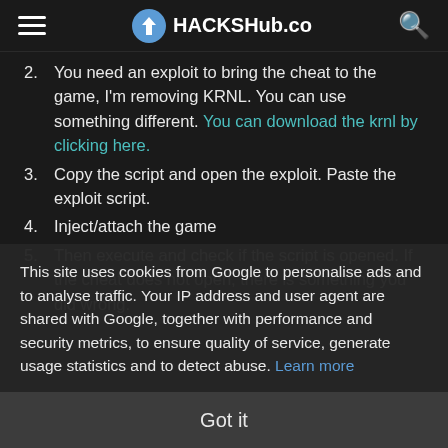HACKSHub.co
2. You need an exploit to bring the cheat to the game, I'm removing KRNL. You can use something different. You can download the krnl by clicking here.
3. Copy the script and open the exploit. Paste the exploit script.
4. Inject/attach the game
5. Then execute and check if the script is opened. If the cheat does not open, there is something you did wrong.
This site uses cookies from Google to personalise ads and to analyse traffic. Your IP address and user agent are shared with Google, together with performance and security metrics, to ensure quality of service, generate usage statistics and to detect abuse. Learn more
Got it